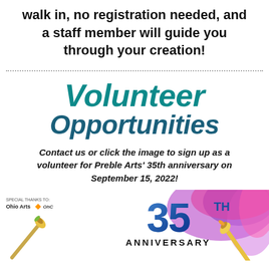walk in, no registration needed, and a staff member will guide you through your creation!
Volunteer Opportunities
Contact us or click the image to sign up as a volunteer for Preble Arts' 35th anniversary on September 15, 2022!
[Figure (illustration): 35th Anniversary logo with colorful paint splashes, paintbrushes, Ohio Arts special thanks logos on the left, and '35TH ANNIVERSARY' text in blue in the center-right]